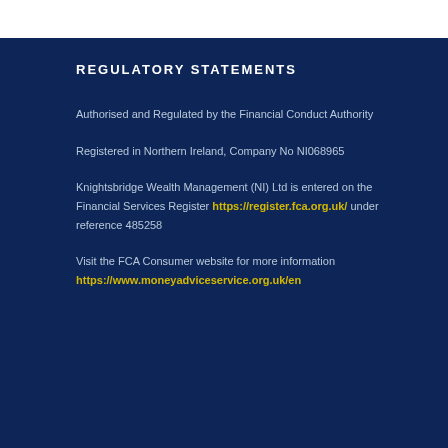REGULATORY STATEMENTS
Authorised and Regulated by the Financial Conduct Authority
Registered in Northern Ireland, Company No NI068965
Knightsbridge Wealth Management (NI) Ltd is entered on the Financial Services Register https://register.fca.org.uk/ under reference 485258
Visit the FCA Consumer website for more information https://www.moneyadviceservice.org.uk/en